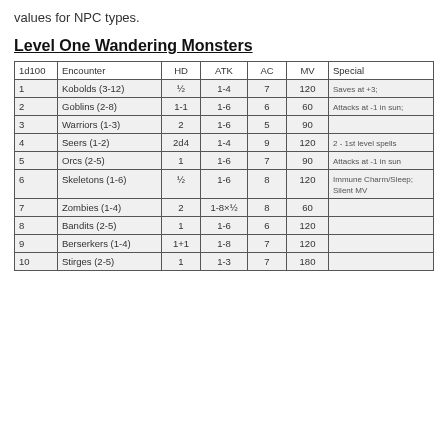values for NPC types.
Level One Wandering Monsters
| 1d100 | Encounter | HD | ATK | AC | MV | Special |
| --- | --- | --- | --- | --- | --- | --- |
| 1 | Kobolds (3-12) | ½ | 1-4 | 7 | 120 | Saves at +3; |
| 2 | Goblins (2-8) | 1-1 | 1-6 | 6 | 60 | Attacks at -1 in sun; |
| 3 | Warriors (1-3) | 2 | 1-6 | 5 | 90 |  |
| 4 | Seers (1-2) | 2d4 | 1-4 | 9 | 120 | 2 - 1st level spells |
| 5 | Orcs (2-5) | 1 | 1-6 | 7 | 90 | Attacks at -1 in sun |
| 6 | Skeletons (1-6) | ½ | 1-6 | 8 | 120 | Immune Charm/Sleep; Silent MV |
| 7 | Zombies (1-4) | 2 | 1-8×½ | 8 | 60 |  |
| 8 | Bandits (2-5) | 1 | 1-6 | 6 | 120 |  |
| 9 | Berserkers (1-4) | 1+1 | 1-8 | 7 | 120 |  |
| 10 | Stirges (2-5) | 1 | 1-3 | 7 | 180 |  |